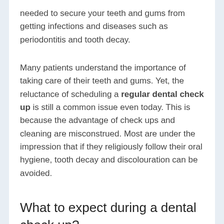needed to secure your teeth and gums from getting infections and diseases such as periodontitis and tooth decay.
Many patients understand the importance of taking care of their teeth and gums. Yet, the reluctance of scheduling a regular dental check up is still a common issue even today. This is because the advantage of check ups and cleaning are misconstrued. Most are under the impression that if they religiously follow their oral hygiene, tooth decay and discolouration can be avoided.
What to expect during a dental check up?
Many patients equate an oral check up with teeth cleaning. Although an oral prophylaxis is